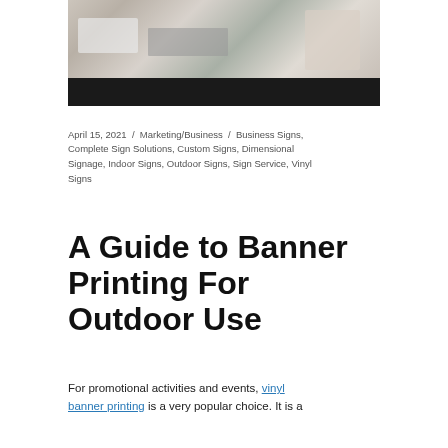[Figure (photo): Two people working at a desk with a keyboard and drawing tablet; one person using a stylus. Photo has a dark black bar across the bottom portion.]
April 15, 2021 / Marketing/Business / Business Signs, Complete Sign Solutions, Custom Signs, Dimensional Signage, Indoor Signs, Outdoor Signs, Sign Service, Vinyl Signs
A Guide to Banner Printing For Outdoor Use
For promotional activities and events, vinyl banner printing is a very popular choice. It is a